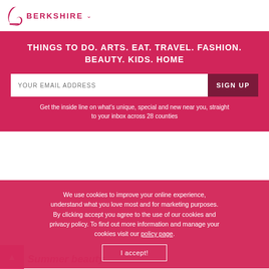BERKSHIRE
THINGS TO DO. ARTS. EAT. TRAVEL. FASHION. BEAUTY. KIDS. HOME
YOUR EMAIL ADDRESS
SIGN UP
Get the inside line on what's unique, special and new near you, straight to your inbox across 28 counties
We use cookies to improve your online experience, understand what you love most and for marketing purposes. By clicking accept you agree to the use of our cookies and privacy policy. To find out more information and manage your cookies visit our policy page.
I accept!
Back to Ga…
Summer beauty